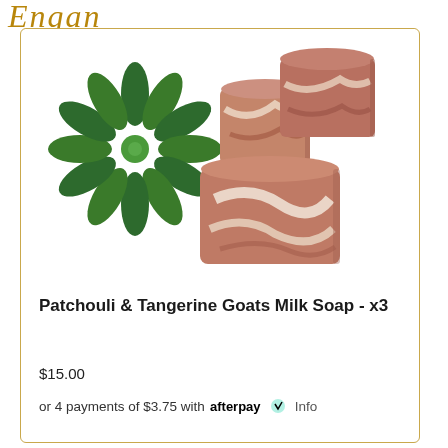Engan
[Figure (photo): Three bars of Patchouli & Tangerine Goats Milk Soap with a green succulent plant, displayed on a white background. The soap bars are reddish-brown with cream swirl patterns.]
Patchouli & Tangerine Goats Milk Soap - x3
$15.00
or 4 payments of $3.75 with afterpay Info